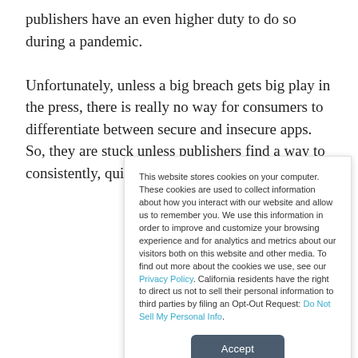publishers have an even higher duty to do so during a pandemic.

Unfortunately, unless a big breach gets big play in the press, there is really no way for consumers to differentiate between secure and insecure apps. So, they are stuck unless publishers find a way to consistently, quickly, and affordably
This website stores cookies on your computer. These cookies are used to collect information about how you interact with our website and allow us to remember you. We use this information in order to improve and customize your browsing experience and for analytics and metrics about our visitors both on this website and other media. To find out more about the cookies we use, see our Privacy Policy. California residents have the right to direct us not to sell their personal information to third parties by filing an Opt-Out Request: Do Not Sell My Personal Info.